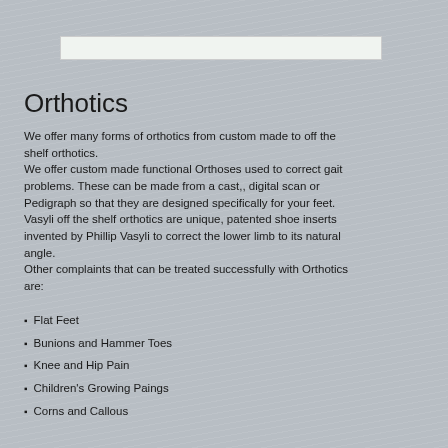[Figure (other): Top navigation/search bar area — white rectangular bar]
Orthotics
We offer many forms of orthotics from custom made to off the shelf orthotics.
We offer custom made functional Orthoses used to correct gait problems. These can be made from a cast,, digital scan or Pedigraph so that they are designed specifically for your feet.
Vasyli off the shelf orthotics are unique, patented shoe inserts invented by Phillip Vasyli to correct the lower limb to its natural angle.
Other complaints that can be treated successfully with Orthotics are:
Flat Feet
Bunions and Hammer Toes
Knee and Hip Pain
Children's Growing Paings
Corns and Callous